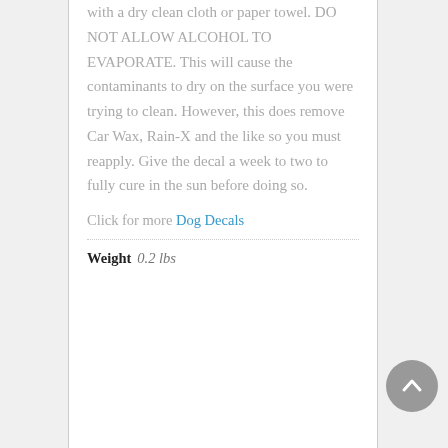with a dry clean cloth or paper towel. DO NOT ALLOW ALCOHOL TO EVAPORATE. This will cause the contaminants to dry on the surface you were trying to clean. However, this does remove Car Wax, Rain-X and the like so you must reapply. Give the decal a week to two to fully cure in the sun before doing so.
Click for more Dog Decals
Weight  0.2 lbs